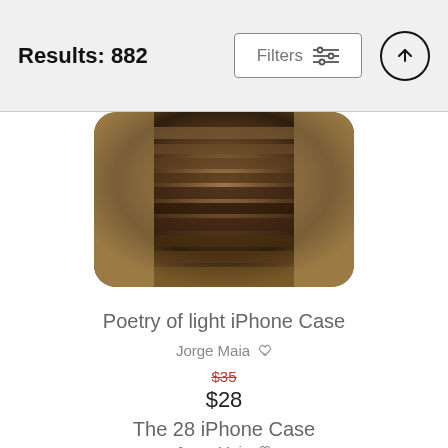Results: 882
[Figure (photo): Product photo of iPhone case with a dark moody stone/brick texture image in sepia tones, displayed in a rounded rectangle frame]
Poetry of light iPhone Case
Jorge Maia
$35 (strikethrough) $28
The 28 iPhone Case
Jorge Maia